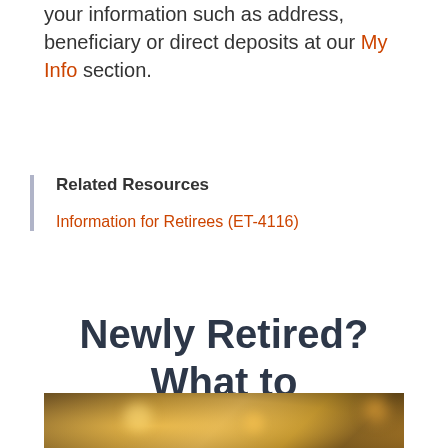your information such as address, beneficiary or direct deposits at our My Info section.
Related Resources
Information for Retirees (ET-4116)
Newly Retired? What to Expect
[Figure (photo): Blurred warm bokeh background photo, golden/amber tones suggesting a cozy restaurant or gathering space]